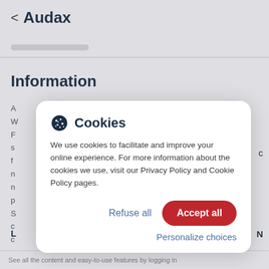< Audax
Information
[Figure (screenshot): Cookie consent dialog box with title 'Cookies', body text about cookie usage, 'Refuse all' and 'Accept all' buttons, and 'Personalize choices' link]
See all the content and easy-to-use features by logging in